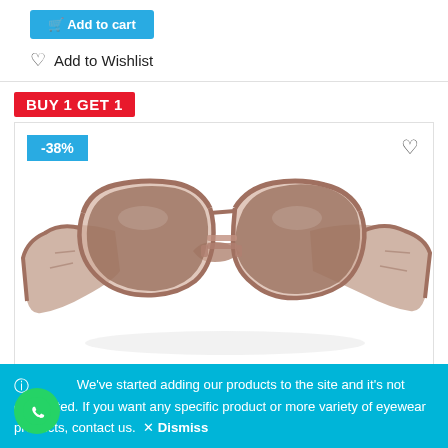Add to cart
Add to Wishlist
BUY 1 GET 1
[Figure (photo): Sunglasses with brown/pink translucent frame and gradient brown lenses, displayed from a 3/4 angle. A -38% discount badge is shown in the top left and a heart/wishlist icon in the top right.]
We've started adding our products to the site and it's not completed. If you want any specific product or more variety of eyewear products, contact us. × Dismiss